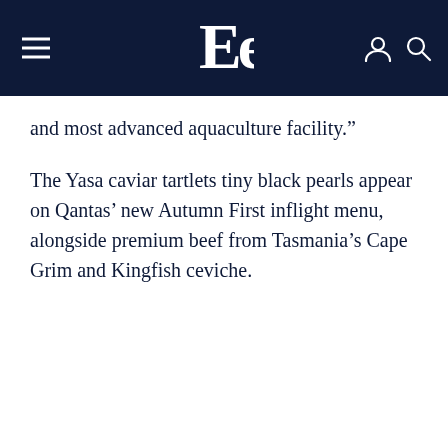≡  [Logo: Ee]  [user icon] [search icon]
and most advanced aquaculture facility."
The Yasa caviar tartlets tiny black pearls appear on Qantas' new Autumn First inflight menu, alongside premium beef from Tasmania's Cape Grim and Kingfish ceviche.